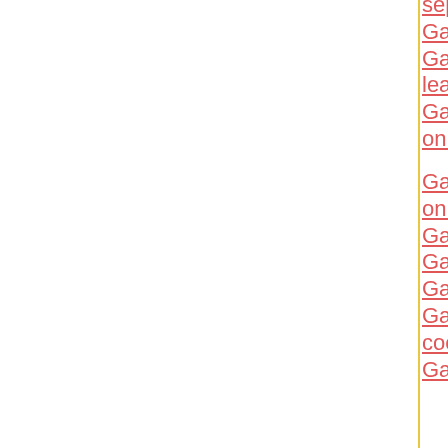separable lean only, 1 steak, cooked, broiled
Game meat, deer, raw
Game meat, deer, shoulder clod, separable lean only, 3-5 lb roast, cooked, braised
Game meat, deer, tenderloin, separable lean only, 0.5-1 lb roast, cooked, broiled
Game meat, deer, top round, separable lean only, 1" steak, cooked, broiled
Game meat, elk, cooked, roasted
Game meat, elk, ground, cooked, pan-broiled
Game meat, elk, ground, raw
Game meat, elk, loin, separable lean only, cooked, broiled
Game meat, elk, raw